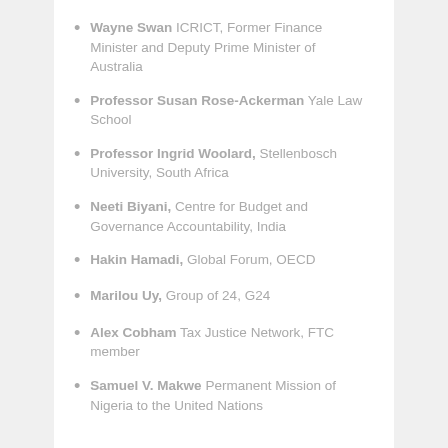Wayne Swan ICRICT, Former Finance Minister and Deputy Prime Minister of Australia
Professor Susan Rose-Ackerman Yale Law School
Professor Ingrid Woolard, Stellenbosch University, South Africa
Neeti Biyani, Centre for Budget and Governance Accountability, India
Hakin Hamadi, Global Forum, OECD
Marilou Uy, Group of 24, G24
Alex Cobham Tax Justice Network, FTC member
Samuel V. Makwe Permanent Mission of Nigeria to the United Nations